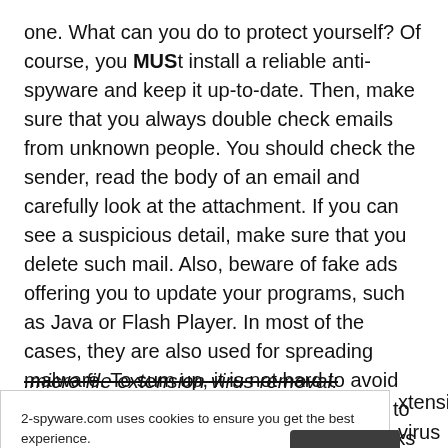one. What can you do to protect yourself? Of course, you MUSt install a reliable anti-spyware and keep it up-to-date. Then, make sure that you always double check emails from unknown people. You should check the sender, read the body of an email and carefully look at the attachment. If you can see a suspicious detail, make sure that you delete such mail. Also, beware of fake ads offering you to update your programs, such as Java or Flash Player. In most of the cases, they are also used for spreading malware. To sum up, it is not hard to avoid '.micro file extension' virus. You just need to be a responsible PC user who always thinks two steps ahead.
.micro file extension virus removal:
2-spyware.com uses cookies to ensure you get the best experience.
Privacy policy
Agree